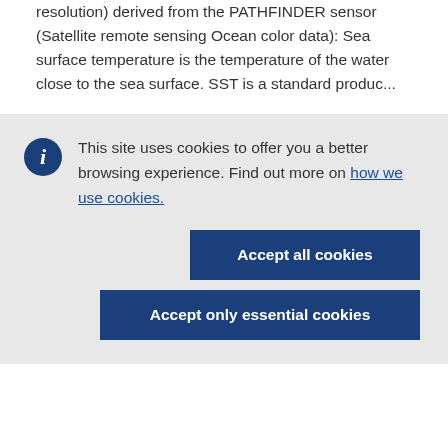resolution) derived from the PATHFINDER sensor (Satellite remote sensing Ocean color data): Sea surface temperature is the temperature of the water close to the sea surface. SST is a standard produc...
This site uses cookies to offer you a better browsing experience. Find out more on how we use cookies.